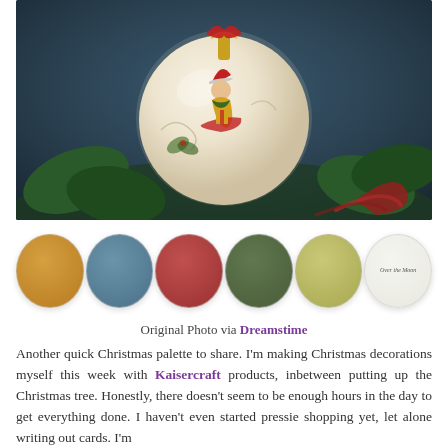[Figure (photo): A vintage-style Christmas ornament ball with an illustration of an elf/child in a red sled, surrounded by holly leaves and red ribbons against a dark blue-green background. Color swatches below show: gold/mustard, steel blue, brick red, olive green, sage yellow, and a white circle with 'Over the Moon' logo text.]
Original Photo via Dreamstime
Another quick Christmas palette to share. I'm making Christmas decorations myself this week with Kaisercraft products, inbetween putting up the Christmas tree. Honestly, there doesn't seem to be enough hours in the day to get everything done. I haven't even started pressie shopping yet, let alone writing out cards. I'm